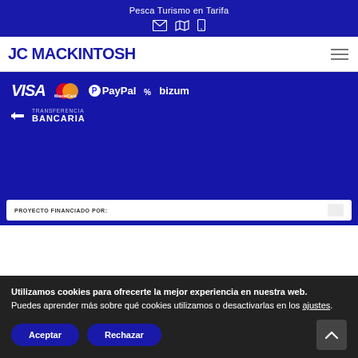Pesca Turismo en Tarifa
JC MACKINTOSH
[Figure (logo): Payment method logos: VISA, MasterCard, PayPal, bizum, Transferencia Bancaria on blue background]
PROYECTO FINANCIADO POR:
Utilizamos cookies para ofrecerte la mejor experiencia en nuestra web. Puedes aprender más sobre qué cookies utilizamos o desactivarlas en los ajustes.
Aceptar
Rechazar